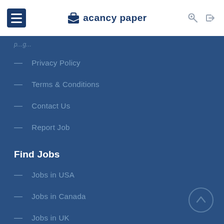Vacancy paper
— Privacy Policy
— Terms & Conditions
— Contact Us
— Report Job
Find Jobs
— Jobs in USA
— Jobs in Canada
— Jobs in UK
— Jobs in Netherland